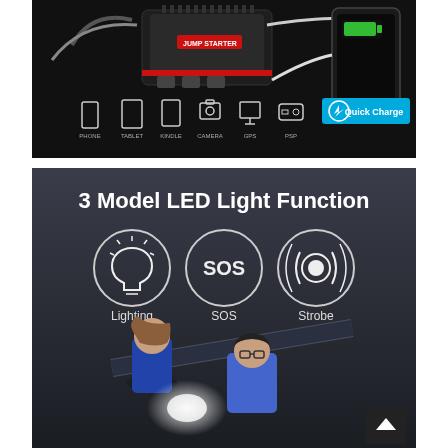[Figure (photo): Product photo of a portable jump starter/power bank device with cables connected, charging a smartphone. Below the device are icons for compatible devices: PHONE, TABLET, KINDLE, CAMERA, GPS, PSP, with a blue 'Quick Charge' badge.]
[Figure (infographic): Dark background infographic showing '3 Model LED Light Function' with three circle icons: Lighting (lightbulb), SOS (text), Strobe (signal waves). Below is a photo of two people (a woman and a man with glasses) looking under a car hood illuminated by a bright LED light.]